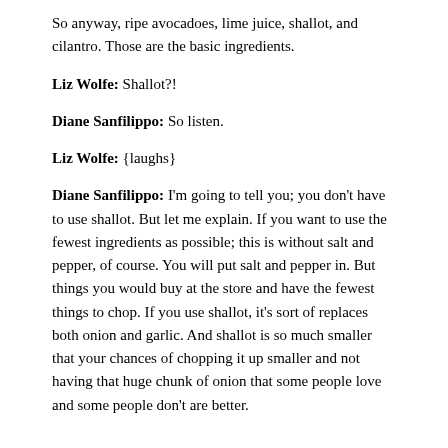So anyway, ripe avocadoes, lime juice, shallot, and cilantro. Those are the basic ingredients.
Liz Wolfe: Shallot?!
Diane Sanfilippo: So listen.
Liz Wolfe: {laughs}
Diane Sanfilippo: I'm going to tell you; you don't have to use shallot. But let me explain. If you want to use the fewest ingredients as possible; this is without salt and pepper, of course. You will put salt and pepper in. But things you would buy at the store and have the fewest things to chop. If you use shallot, it's sort of replaces both onion and garlic. And shallot is so much smaller that your chances of chopping it up smaller and not having that huge chunk of onion that some people love and some people don't are better.